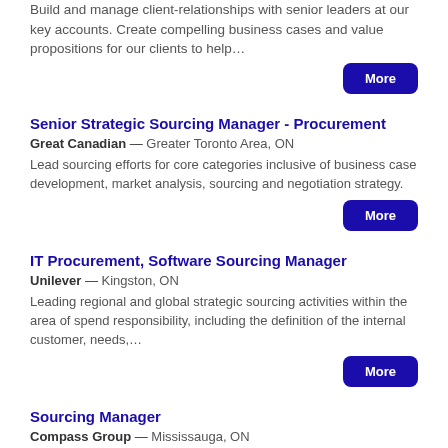Build and manage client-relationships with senior leaders at our key accounts. Create compelling business cases and value propositions for our clients to help…
More
Senior Strategic Sourcing Manager - Procurement
Great Canadian — Greater Toronto Area, ON
Lead sourcing efforts for core categories inclusive of business case development, market analysis, sourcing and negotiation strategy.
More
IT Procurement, Software Sourcing Manager
Unilever — Kingston, ON
Leading regional and global strategic sourcing activities within the area of spend responsibility, including the definition of the internal customer, needs,…
More
Sourcing Manager
Compass Group — Mississauga, ON